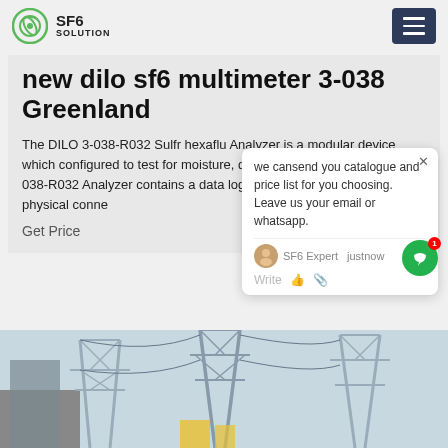SF6 SOLUTION
new dilo sf6 multimeter 3-038 Greenland
The DILO 3-038-R032 Sulfr hexaflu Analyzer is a modular device which configured to test for moisture, deco purity of sf 6.The DILO 3-038-R032 Analyzer contains a data logger h hardware to make a physical conne
Get Price
[Figure (photo): Power transmission towers and electrical infrastructure against a light sky background]